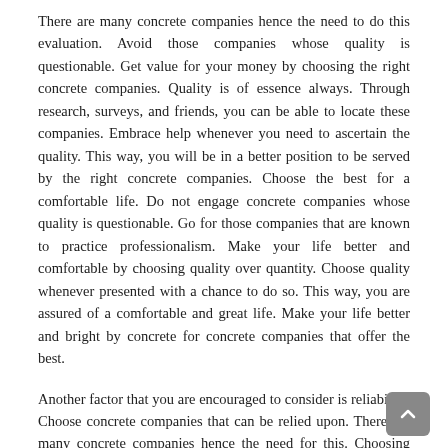There are many concrete companies hence the need to do this evaluation. Avoid those companies whose quality is questionable. Get value for your money by choosing the right concrete companies. Quality is of essence always. Through research, surveys, and friends, you can be able to locate these companies. Embrace help whenever you need to ascertain the quality. This way, you will be in a better position to be served by the right concrete companies. Choose the best for a comfortable life. Do not engage concrete companies whose quality is questionable. Go for those companies that are known to practice professionalism. Make your life better and comfortable by choosing quality over quantity. Choose quality whenever presented with a chance to do so. This way, you are assured of a comfortable and great life. Make your life better and bright by concrete for concrete companies that offer the best.
Another factor that you are encouraged to consider is reliability. Choose concrete companies that can be relied upon. There are many concrete companies hence the need for this. Choosing reliable concrete companies offer you an opportunity to meet your life goals and dreams. Make your objectives come true through reliable concrete companies. Ask those who have interacted with these companies before making your choice. Go for concrete